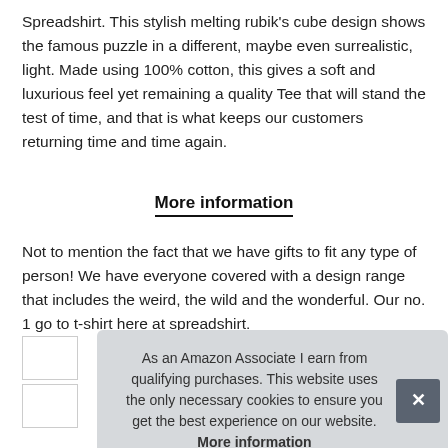Spreadshirt. This stylish melting rubik's cube design shows the famous puzzle in a different, maybe even surrealistic, light. Made using 100% cotton, this gives a soft and luxurious feel yet remaining a quality Tee that will stand the test of time, and that is what keeps our customers returning time and time again.
More information
Not to mention the fact that we have gifts to fit any type of person! We have everyone covered with a design range that includes the weird, the wild and the wonderful. Our no. 1 go to t-shirt here at spreadshirt.
As an Amazon Associate I earn from qualifying purchases. This website uses the only necessary cookies to ensure you get the best experience on our website. More information